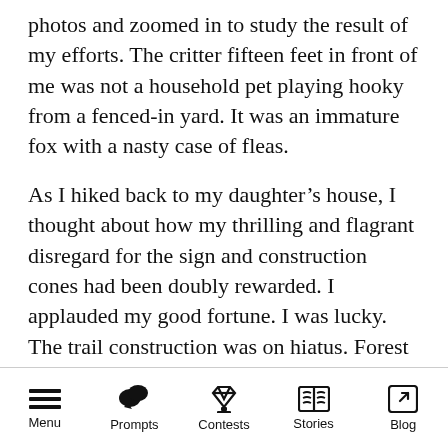photos and zoomed in to study the result of my efforts. The critter fifteen feet in front of me was not a household pet playing hooky from a fenced-in yard. It was an immature fox with a nasty case of fleas.
As I hiked back to my daughter’s house, I thought about how my thrilling and flagrant disregard for the sign and construction cones had been doubly rewarded. I applauded my good fortune. I was lucky. The trail construction was on hiatus. Forest rangers who normally patrolled the area were on a coffee break. And other hikers, who may have frightened off both the heron and fox, were nonexistent.
Menu | Prompts | Contests | Stories | Blog